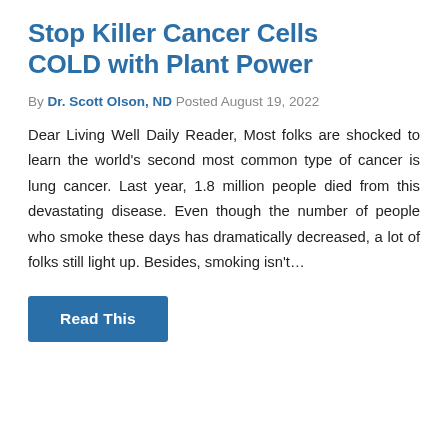Stop Killer Cancer Cells COLD with Plant Power
By Dr. Scott Olson, ND Posted August 19, 2022
Dear Living Well Daily Reader, Most folks are shocked to learn the world's second most common type of cancer is lung cancer. Last year, 1.8 million people died from this devastating disease. Even though the number of people who smoke these days has dramatically decreased, a lot of folks still light up. Besides, smoking isn't…
Read This